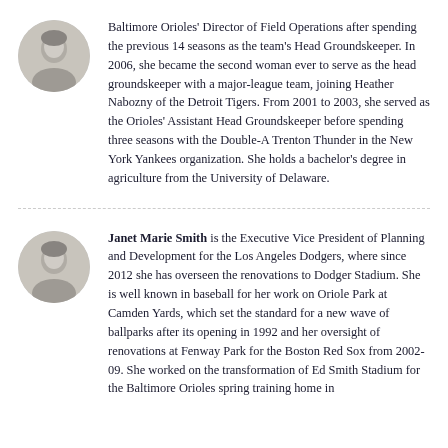[Figure (photo): Circular avatar photo of a woman, grayscale]
Baltimore Orioles' Director of Field Operations after spending the previous 14 seasons as the team's Head Groundskeeper. In 2006, she became the second woman ever to serve as the head groundskeeper with a major-league team, joining Heather Nabozny of the Detroit Tigers. From 2001 to 2003, she served as the Orioles' Assistant Head Groundskeeper before spending three seasons with the Double-A Trenton Thunder in the New York Yankees organization. She holds a bachelor's degree in agriculture from the University of Delaware.
[Figure (photo): Circular avatar photo of a woman, grayscale]
Janet Marie Smith is the Executive Vice President of Planning and Development for the Los Angeles Dodgers, where since 2012 she has overseen the renovations to Dodger Stadium. She is well known in baseball for her work on Oriole Park at Camden Yards, which set the standard for a new wave of ballparks after its opening in 1992 and her oversight of renovations at Fenway Park for the Boston Red Sox from 2002-09. She worked on the transformation of Ed Smith Stadium for the Baltimore Orioles spring training home in